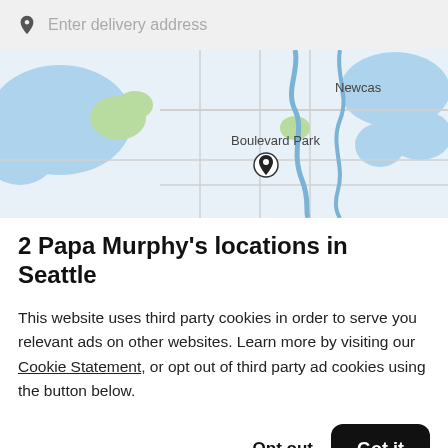Enter delivery address
[Figure (map): Map showing Boulevard Park and Newcas areas near Seattle, with a location pin marker in the center.]
2 Papa Murphy's locations in Seattle
This website uses third party cookies in order to serve you relevant ads on other websites. Learn more by visiting our Cookie Statement, or opt out of third party ad cookies using the button below.
Opt out
Got it